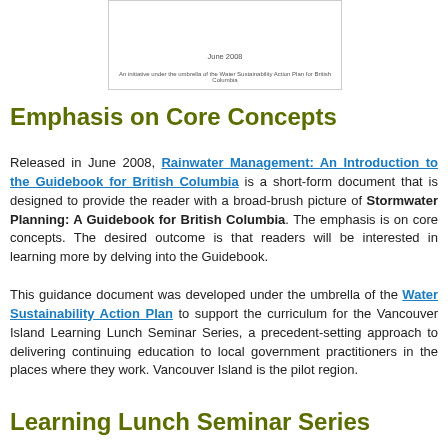[Figure (other): Cover image placeholder showing 'June 2008' date and text 'An initiative under the umbrella of the Water Sustainability Action Plan for British Columbia']
Emphasis on Core Concepts
Released in June 2008, Rainwater Management: An Introduction to the Guidebook for British Columbia is a short-form document that is designed to provide the reader with a broad-brush picture of Stormwater Planning: A Guidebook for British Columbia. The emphasis is on core concepts. The desired outcome is that readers will be interested in learning more by delving into the Guidebook.
This guidance document was developed under the umbrella of the Water Sustainability Action Plan to support the curriculum for the Vancouver Island Learning Lunch Seminar Series, a precedent-setting approach to delivering continuing education to local government practitioners in the places where they work. Vancouver Island is the pilot region.
Learning Lunch Seminar Series